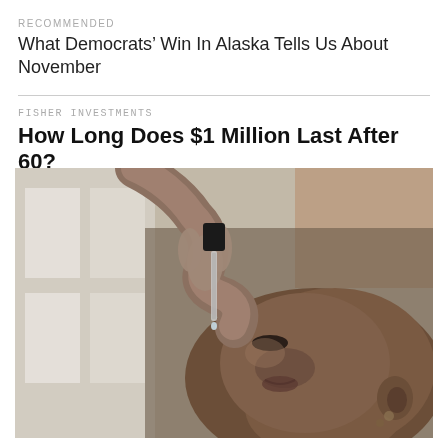RECOMMENDED
What Democrats’ Win In Alaska Tells Us About November
FISHER INVESTMENTS
How Long Does $1 Million Last After 60?
[Figure (photo): A person tilting their head back while using a dropper to place drops into their mouth, photographed in a warm indoor setting with window light in the background.]